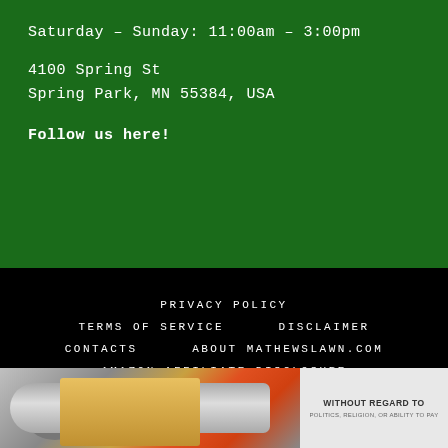Saturday – Sunday: 11:00am – 3:00pm
4100 Spring St
Spring Park, MN 55384, USA
Follow us here!
PRIVACY POLICY   TERMS OF SERVICE   DISCLAIMER   CONTACTS   ABOUT MATHEWSLAWN.COM   AMAZON AFFILIATE DISCLOSURE
© 2019-2022 · MATHEWSLAWN.COM · ALL
[Figure (photo): Advertisement banner showing an airplane being loaded with cargo, with a gray panel on the right containing text 'WITHOUT REGARD TO POLITICS, RELIGION, OR ABILITY TO PAY']